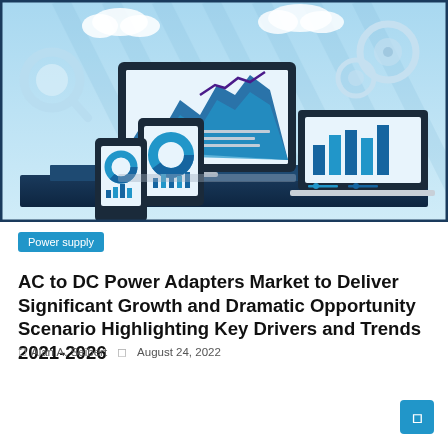[Figure (illustration): Illustration of multiple devices (desktop monitor, laptop, tablet, smartphone) displaying analytics charts and graphs on a blue-themed background with clouds, gears, and magnifying glass icons. Devices show bar charts, line charts, and donut charts.]
Power supply
AC to DC Power Adapters Market to Deliver Significant Growth and Dramatic Opportunity Scenario Highlighting Key Drivers and Trends 2021-2026
Alan A. Seibert   August 24, 2022